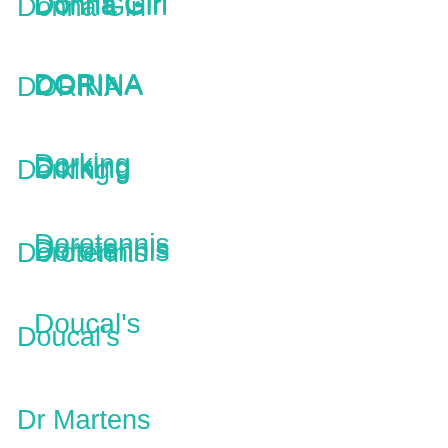Donna Girl
DORINA
Dorking
Dorotennis
Doucal's
Dr Martens
Dragon Sea
Draven
Dream in Green
Duffy
Duffy In Leather
Dumond